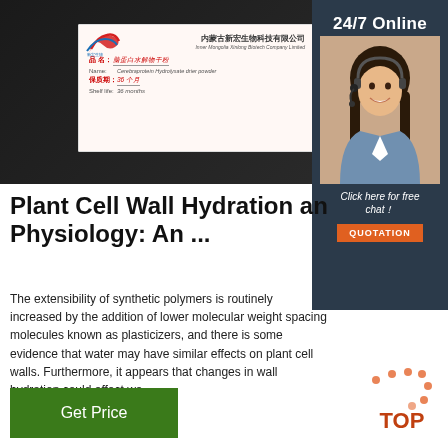[Figure (photo): Product label card from Inner Mongolia Xinlong Biotech Company Limited showing Cerebraprotein Hydrolysate drier powder with shelf life of 36 months, displayed against dark background]
[Figure (photo): 24/7 Online customer service box with smiling female agent wearing headset, dark navy background, with 'Click here for free chat!' text and orange QUOTATION button]
Plant Cell Wall Hydration an
Physiology: An ...
The extensibility of synthetic polymers is routinely increased by the addition of lower molecular weight spacing molecules known as plasticizers, and there is some evidence that water may have similar effects on plant cell walls. Furthermore, it appears that changes in wall hydration could affect wa ...
[Figure (other): Green 'Get Price' button]
[Figure (other): Orange/red TOP navigation button with dot pattern]